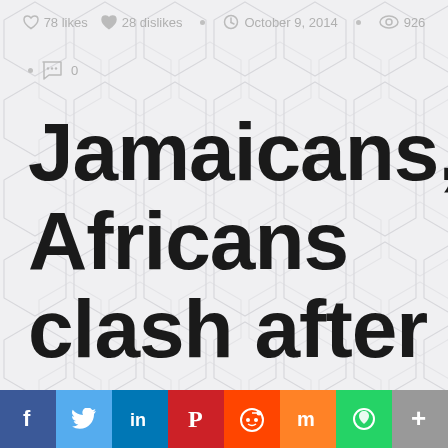78 likes  28 dislikes  •  October 9, 2014  •  926
• 0
Jamaicans, Africans clash after
[Figure (infographic): Social share bar with buttons: Facebook (f), Twitter (bird), LinkedIn (in), Pinterest (P), Reddit (alien), Mix (m), WhatsApp (phone), More (+)]